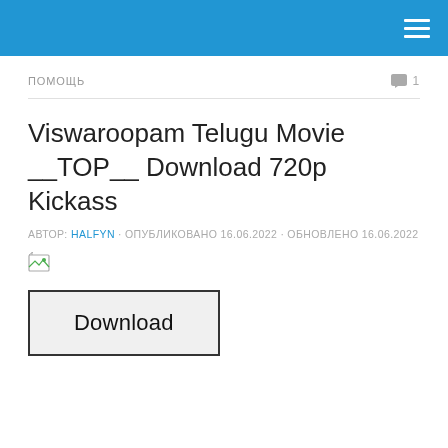ПОМОЩЬ · 1
Viswaroopam Telugu Movie __TOP__ Download 720p Kickass
АВТОР: HALFYN · ОПУБЛИКОВАНО 16.06.2022 · ОБНОВЛЕНО 16.06.2022
[Figure (other): Broken image placeholder icon]
[Figure (other): Download button graphic with text 'Download']